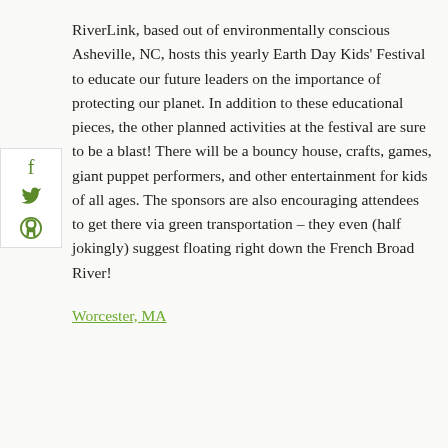RiverLink, based out of environmentally conscious Asheville, NC, hosts this yearly Earth Day Kids' Festival to educate our future leaders on the importance of protecting our planet. In addition to these educational pieces, the other planned activities at the festival are sure to be a blast! There will be a bouncy house, crafts, games, giant puppet performers, and other entertainment for kids of all ages. The sponsors are also encouraging attendees to get there via green transportation – they even (half jokingly) suggest floating right down the French Broad River!
Worcester, MA